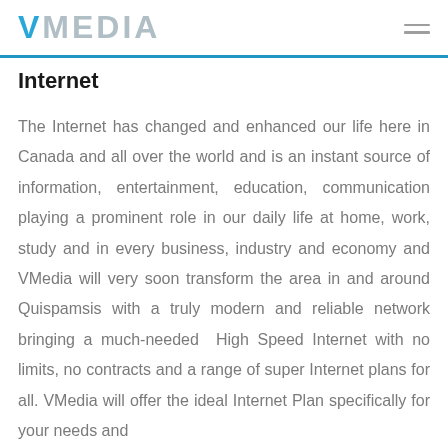VMedia
Internet
The Internet has changed and enhanced our life here in Canada and all over the world and is an instant source of information, entertainment, education, communication playing a prominent role in our daily life at home, work, study and in every business, industry and economy and VMedia will very soon transform the area in and around Quispamsis with a truly modern and reliable network bringing a much-needed  High Speed Internet with no limits, no contracts and a range of super Internet plans for all. VMedia will offer the ideal Internet Plan specifically for your needs and